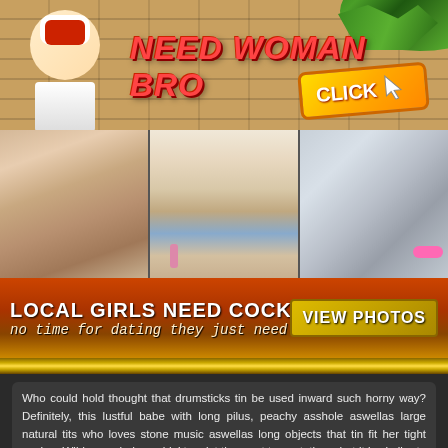[Figure (illustration): Website banner with cartoon character, brick wall background, palm leaves, title 'NEED WOMAN BRO' in red graffiti style text, and a yellow 'CLICK' button with cursor]
[Figure (photo): Three adult content promotional photos side by side]
[Figure (infographic): Promotional bar with text 'LOCAL GIRLS NEED COCK' and 'no time for dating they just need sex' with 'VIEW PHOTOS' button, gold border decoration]
Who could hold thought that drumsticks tin be used inward such horny way? Definitely, this lustful babe with long pilus, peachy asshole aswellas large natural tits who loves stone music aswellas long objects that tin fit her tight vagina. Wild younglady couldn' t resist the want to gustation what it is similar to experience the beat literally. She sneaked into the rehearsal room too